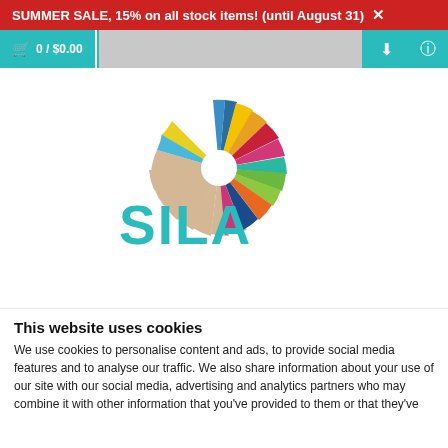SUMMER SALE, 15% on all stock items! (until August 31) ✕
🛒 0 / $0.00
[Figure (logo): Sula colorful sunburst logo with radiating colored segments forming a circular pinwheel shape, and large teal SULA text below]
This website uses cookies
We use cookies to personalise content and ads, to provide social media features and to analyse our traffic. We also share information about your use of our site with our social media, advertising and analytics partners who may combine it with other information that you've provided to them or that they've